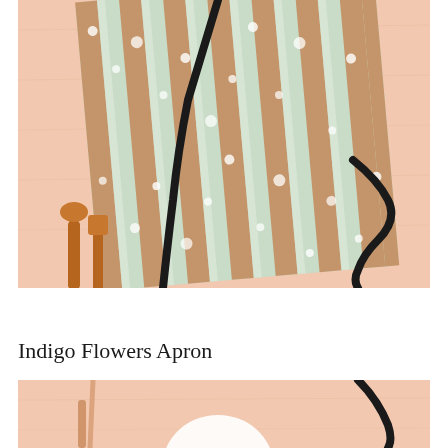[Figure (photo): A striped apron with tan and mint green vertical stripes and white dot accents, laid flat on a light wood surface. A black ribbon/strap is visible on both sides. Wooden spoons or kitchen utensils are placed at the bottom left corner.]
Indigo Flowers Apron
[Figure (photo): Bottom portion of another apron product photo on a light peachy wood surface, with a black strap visible and partial view of kitchen items.]